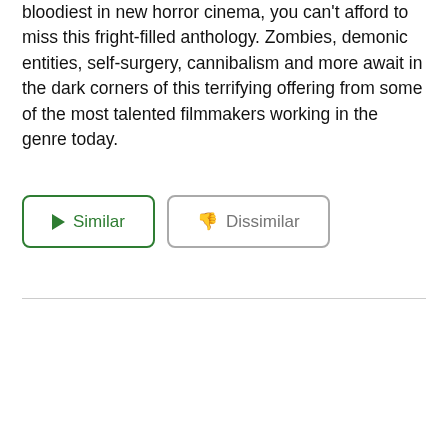bloodiest in new horror cinema, you can't afford to miss this fright-filled anthology. Zombies, demonic entities, self-surgery, cannibalism and more await in the dark corners of this terrifying offering from some of the most talented filmmakers working in the genre today.
[Figure (other): Two buttons: a green-bordered 'Similar' button with a play triangle icon, and a grey-bordered 'Dissimilar' button with a thumbs-down icon.]